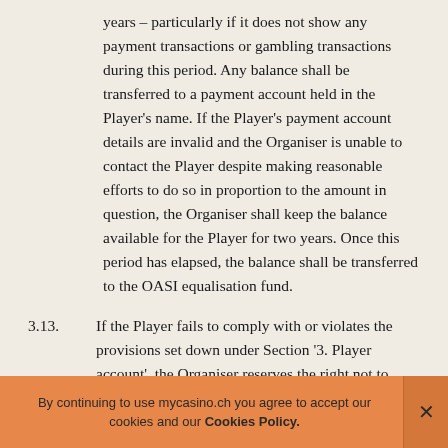years – particularly if it does not show any payment transactions or gambling transactions during this period. Any balance shall be transferred to a payment account held in the Player's name. If the Player's payment account details are invalid and the Organiser is unable to contact the Player despite making reasonable efforts to do so in proportion to the amount in question, the Organiser shall keep the balance available for the Player for two years. Once this period has elapsed, the balance shall be transferred to the OASI equalisation fund.
3.13. If the Player fails to comply with or violates the provisions set down under Section '3. Player account', the Organiser reserves the right not to open or to close the player account according to Art.
By continuing to use mycasino.ch you agree to accept our cookies and our Cookies Policy.